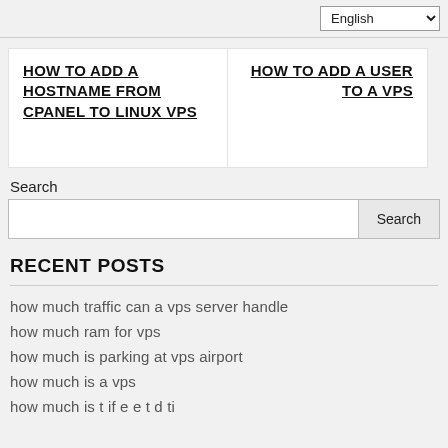English
HOW TO ADD A HOSTNAME FROM CPANEL TO LINUX VPS
HOW TO ADD A USER TO A VPS
Search
RECENT POSTS
how much traffic can a vps server handle
how much ram for vps
how much is parking at vps airport
how much is a vps
how much is…